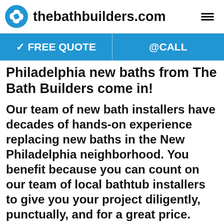thebathbuilders.com
✓ FREE QUOTE   @CALL
Philadelphia new baths from The Bath Builders come in!
Our team of new bath installers have decades of hands-on experience replacing new baths in the New Philadelphia neighborhood. You benefit because you can count on our team of local bathtub installers to give you your project diligently, punctually, and for a great price. Read through our reviews and you will see we mean it! Our new bath installers have a long record of satisfied homeowners and referrals, because we are